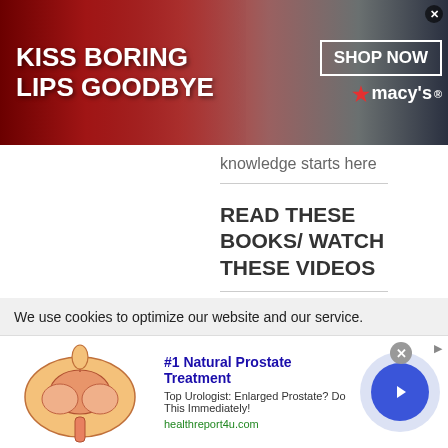[Figure (photo): Macy's advertisement banner: 'KISS BORING LIPS GOODBYE' with a woman's face and red lips, SHOP NOW button and Macy's logo with star]
knowledge starts here
READ THESE BOOKS/ WATCH THESE VIDEOS
Readers Testimonials
Blog's aims
We use cookies to optimize our website and our service.
[Figure (photo): Advertisement for #1 Natural Prostate Treatment with prostate anatomy illustration, text: Top Urologist: Enlarged Prostate? Do This Immediately!, healthreport4u.com, and a circular arrow button]